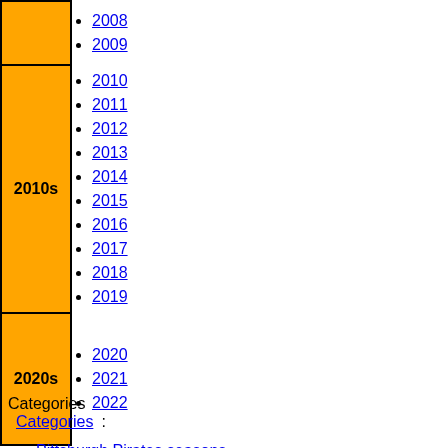2008
2009
2010
2011
2012
2013
2014
2015
2016
2017
2018
2019
2020
2021
2022
Categories
Categories:
Pittsburgh Pirates seasons
1931 Major League Baseball season
1931 in sports in Pennsylvania